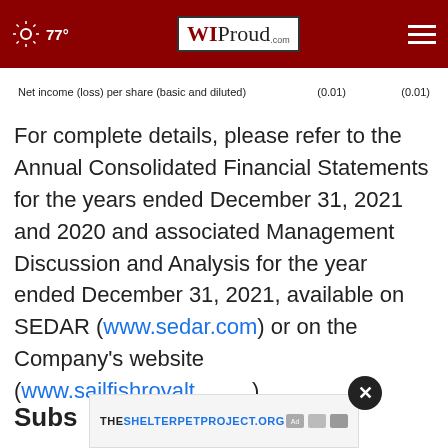77° WIProud.com
| Net income (loss) per share (basic and diluted) | (0.01) | (0.01) |
For complete details, please refer to the Annual Consolidated Financial Statements for the years ended December 31, 2021 and 2020 and associated Management Discussion and Analysis for the year ended December 31, 2021, available on SEDAR (www.sedar.com) or on the Company's website (www.sailfishroyalty.com).
Subs